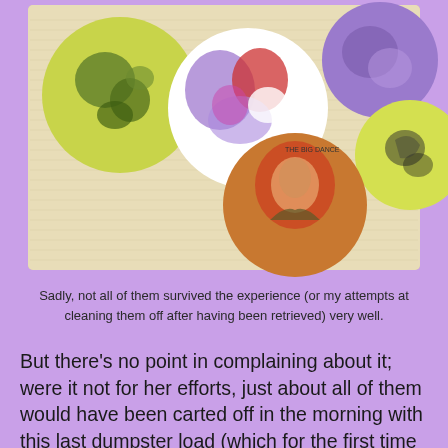[Figure (photo): A photograph of several pinback buttons/badges on a textured beige fabric surface. The buttons include a yellow-green one with dark splotches, a white one with purple and red watercolor designs, a purple button, a yellow-green button with black designs, and a brown/red button showing a person's portrait.]
Sadly, not all of them survived the experience (or my attempts at cleaning them off after having been retrieved) very well.
But there's no point in complaining about it; were it not for her efforts, just about all of them would have been carted off in the morning with this last dumpster load (which for the first time this month, I actually slept through). An archeologist doesn't fret over not finding an entire place setting; most of the time, it's sheer good fortune to find a cracked bowl and a single utensil. You appreciate what you can find, rather than fussing over